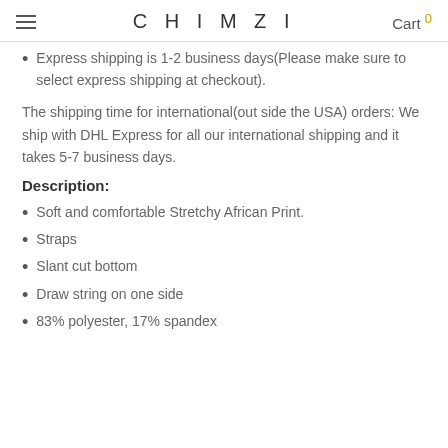CHIMZI | Cart 0
Express shipping is 1-2 business days(Please make sure to select express shipping at checkout).
The shipping time for international(out side the USA) orders: We ship with DHL Express for all our international shipping and it takes 5-7 business days.
Description:
Soft and comfortable Stretchy African Print.
Straps
Slant cut bottom
Draw string on one side
83% polyester, 17% spandex